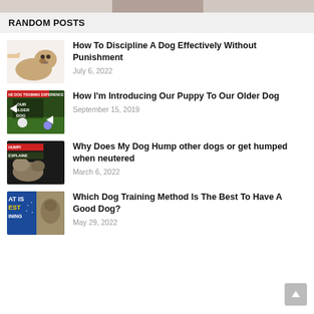[Figure (photo): Partial top image bar showing a dog photo cropped]
RANDOM POSTS
[Figure (photo): Pug dog lying down with hand pointing at it]
How To Discipline A Dog Effectively Without Punishment
July 6, 2022
[Figure (screenshot): Video thumbnail: THE DOG TRAINING EXPERIENCE - OUR OLDER DOG with arrows]
How I'm Introducing Our Puppy To Our Older Dog
September 15, 2019
[Figure (photo): Dogs humping with red banner HUMPING EXPLAINED overlay]
Why Does My Dog Hump other dogs or get humped when neutered
March 6, 2022
[Figure (photo): Graphic with text WHAT IS BEST DOG TRAINING and dog photo]
Which Dog Training Method Is The Best To Have A Good Dog?
May 29, 2022